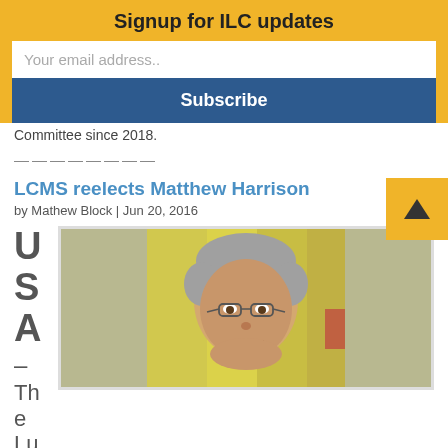Signup for ILC updates
Your email address..
Subscribe
Committee since 2018.
————————
LCMS reelects Matthew Harrison
by Mathew Block | Jun 20, 2016
USA – The Lu
[Figure (photo): Headshot of Matthew Harrison, a middle-aged man with grey hair and glasses, smiling, with a blurred yellow background]